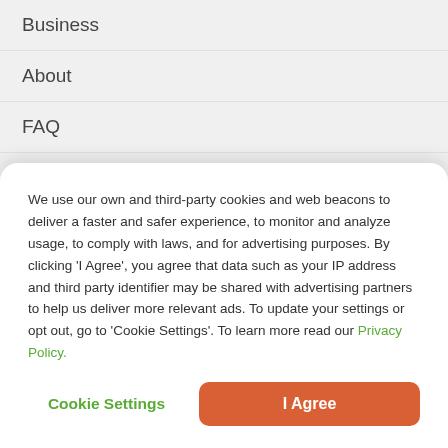Business
About
FAQ
Reviews
Advice
Career
We use our own and third-party cookies and web beacons to deliver a faster and safer experience, to monitor and analyze usage, to comply with laws, and for advertising purposes. By clicking 'I Agree', you agree that data such as your IP address and third party identifier may be shared with advertising partners to help us deliver more relevant ads. To update your settings or opt out, go to 'Cookie Settings'. To learn more read our Privacy Policy.
Cookie Settings
I Agree